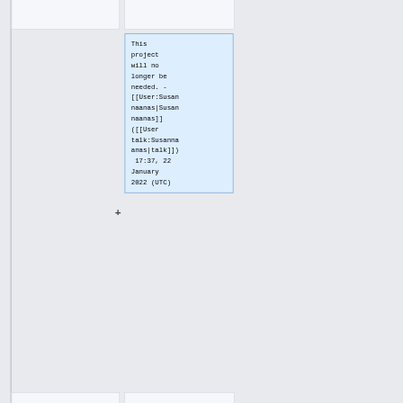This project will no longer be needed. - [[User:Susannaanas|Susannaanas]] ([[User talk:Susannaanas|talk]]) 17:37, 22 January 2022 (UTC)
=== globalcu ===
=== {{deleted}} globalcu ===